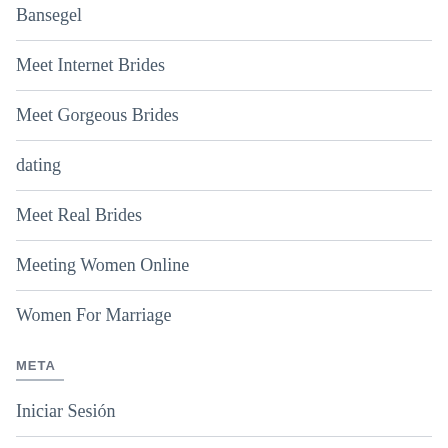Bansegel
Meet Internet Brides
Meet Gorgeous Brides
dating
Meet Real Brides
Meeting Women Online
Women For Marriage
META
Iniciar Sesión
Alimentación de entradas
Feed de comentarios